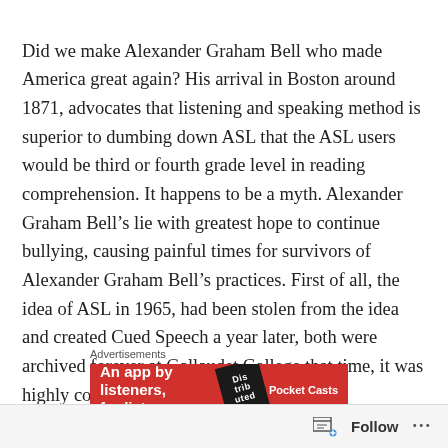Did we make Alexander Graham Bell who made America great again? His arrival in Boston around 1871, advocates that listening and speaking method is superior to dumbing down ASL that the ASL users would be third or fourth grade level in reading comprehension. It happens to be a myth. Alexander Graham Bell’s lie with greatest hope to continue bullying, causing painful times for survivors of Alexander Graham Bell’s practices. First of all, the idea of ASL in 1965, had been stolen from the idea and created Cued Speech a year later, both were archived forever at Gallaudet College that time, it was highly competitive.
Advertisements
[Figure (other): Advertisement banner for Pocket Casts app: red background with text 'An app by listeners, for listeners' and Pocket Casts logo, with a book graphic.]
Follow ...